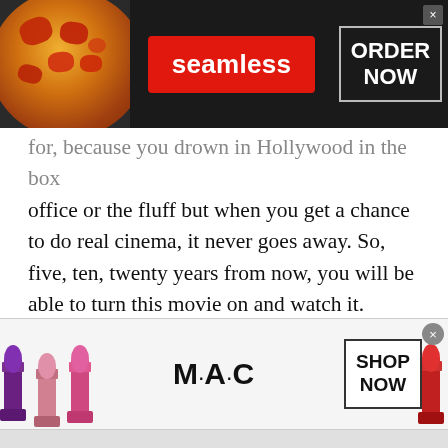[Figure (screenshot): Seamless food delivery advertisement banner with pizza image on left, red Seamless badge in center, and ORDER NOW button in white box on right, all on dark background]
for, because you drown in Hollywood in the box office or the fluff but when you get a chance to do real cinema, it never goes away. So, five, ten, twenty years from now, you will be able to turn this movie on and watch it. That’s the one thing that I appreciate, and I appreciate the opportunity.
Q: Why did Will Smith turn it down?
[Figure (screenshot): MAC cosmetics advertisement banner with lipstick images on left and right, MAC logo in center, and SHOP NOW button in black-bordered box]